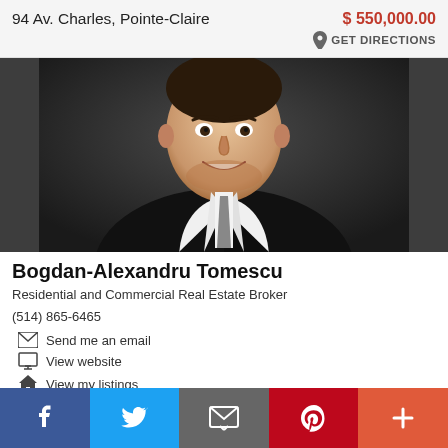94 Av. Charles, Pointe-Claire
$ 550,000.00
GET DIRECTIONS
[Figure (photo): Professional headshot of real estate broker Bogdan-Alexandru Tomescu wearing a black suit with grey tie, smiling, against a dark background]
Bogdan-Alexandru Tomescu
Residential and Commercial Real Estate Broker
(514) 865-6465
Send me an email
View website
View my listings
Facebook  Twitter  Email  Pinterest  More